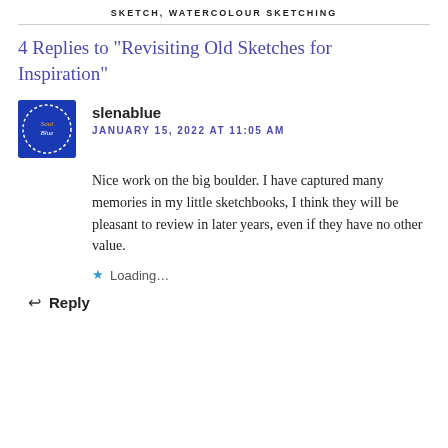SKETCH, WATERCOLOUR SKETCHING
4 Replies to “Revisiting Old Sketches for Inspiration”
[Figure (illustration): Blue circular avatar/logo with white dashed border and 'SoulBlue' text in the center]
slenablue
JANUARY 15, 2022 AT 11:05 AM
Nice work on the big boulder. I have captured many memories in my little sketchbooks, I think they will be pleasant to review in later years, even if they have no other value.
Loading...
Reply